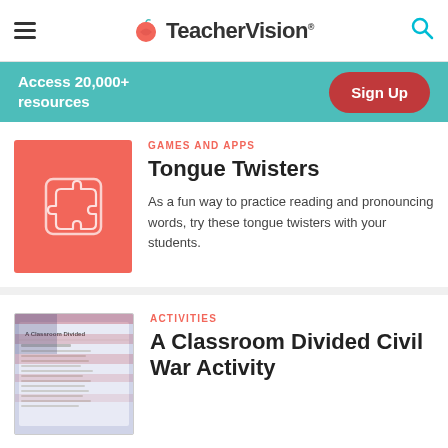TeacherVision
Access 20,000+ resources
Sign Up
[Figure (illustration): Red card with white puzzle piece icon]
GAMES AND APPS
Tongue Twisters
As a fun way to practice reading and pronouncing words, try these tongue twisters with your students.
[Figure (photo): Document preview image for A Classroom Divided Civil War Activity]
ACTIVITIES
A Classroom Divided Civil War Activity